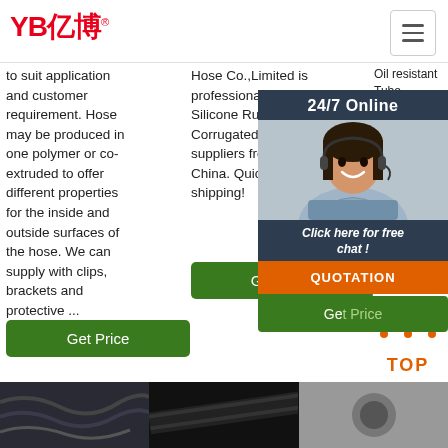[Figure (logo): YB亿博 logo in red]
to suit application and customer requirement. Hose may be produced in one polymer or co-extruded to offer different properties for the inside and outside surfaces of the hose. We can supply with clips, brackets and protective ...
Hose Co.,Limited is professional Silicone Rubber Corrugated Hose suppliers from China. Quick shipping!
Oil resistant Tube PA Nylon hose 8mm USS 1 (Min. Auto inta Turb Hos WR 10 M...
[Figure (screenshot): 24/7 Online chat overlay with customer service agent photo, Click here for free chat, and QUOTATION button]
[Figure (illustration): TOP scroll-to-top button with orange dots icon and orange TOP text]